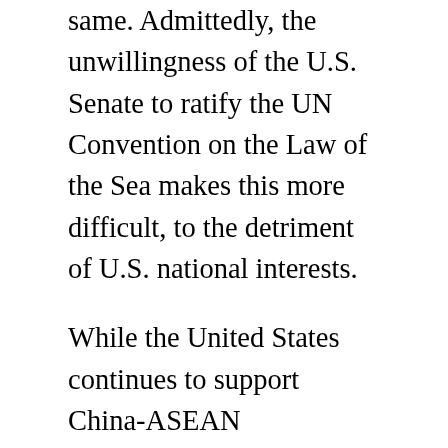same. Admittedly, the unwillingness of the U.S. Senate to ratify the UN Convention on the Law of the Sea makes this more difficult, to the detriment of U.S. national interests.
While the United States continues to support China-ASEAN negotiations on a Code of Conduct, it should pursue a parallel track of encouraging stabilizing confidence-building mechanisms, such as crisis hotlines between claimant capitals, and other maritime safety initiatives, like incidents at sea agreements, which could be adopted in the near term. In future crises, U.S. diplomacy should prioritize helping allies and partners develop and maintain